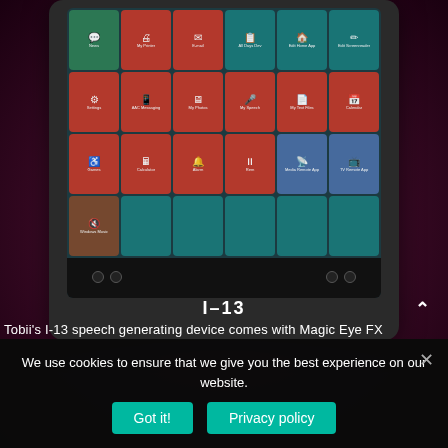[Figure (screenshot): Tobii I-13 speech generating device tablet showing a grid of app tiles on a dark teal screen background, displayed on a dark tablet hardware frame against a dark magenta/maroon radial gradient background.]
I-13
Tobii's I-13 speech generating device comes with Magic Eye FX
We use cookies to ensure that we give you the best experience on our website.
Got it!
Privacy policy